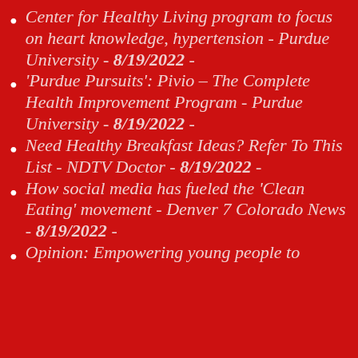Center for Healthy Living program to focus on heart knowledge, hypertension - Purdue University - 8/19/2022 -
'Purdue Pursuits': Pivio – The Complete Health Improvement Program - Purdue University - 8/19/2022 -
Need Healthy Breakfast Ideas? Refer To This List - NDTV Doctor - 8/19/2022 -
How social media has fueled the 'Clean Eating' movement - Denver 7 Colorado News - 8/19/2022 -
Opinion: Empowering young people to